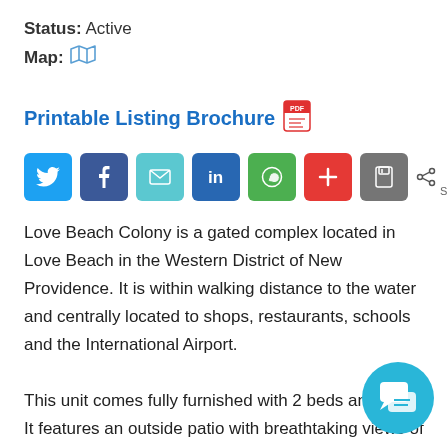Status: Active
Map: [map icon]
Printable Listing Brochure [PDF icon]
[Figure (infographic): Social share buttons: Twitter, Facebook, Email, LinkedIn, WhatsApp, Add, Save — and a share count showing 0 SHARES]
Love Beach Colony is a gated complex located in Love Beach in the Western District of New Providence. It is within walking distance to the water and centrally located to shops, restaurants, schools and the International Airport.
This unit comes fully furnished with 2 beds and 2… It features an outside patio with breathtaking views of the